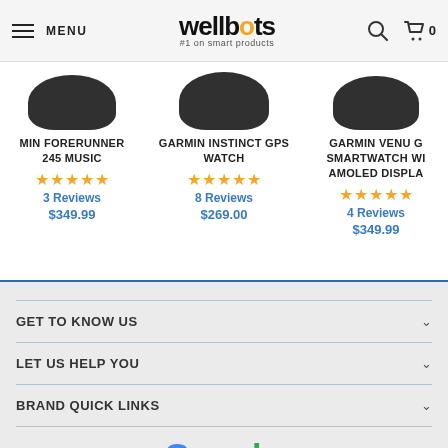MENU | wellbots #1 on smart products | Search | Cart 0
[Figure (screenshot): Partial product image of Garmin Forerunner 245 Music (dark device top portion visible)]
MIN FORERUNNER 245 MUSIC
★★★★★ 3 Reviews $349.99
[Figure (screenshot): Partial product image of Garmin Instinct GPS Watch (dark device top portion visible)]
GARMIN INSTINCT GPS WATCH
★★★★★ 8 Reviews $269.00
[Figure (screenshot): Partial product image of Garmin Venu (dark device top portion visible, partially cropped)]
GARMIN VENU G SMARTWATCH WI AMOLED DISPLA
★★★★★ 4 Reviews $349.99
GET TO KNOW US
LET US HELP YOU
BRAND QUICK LINKS
[Figure (logo): Google logo (partially visible at bottom)]